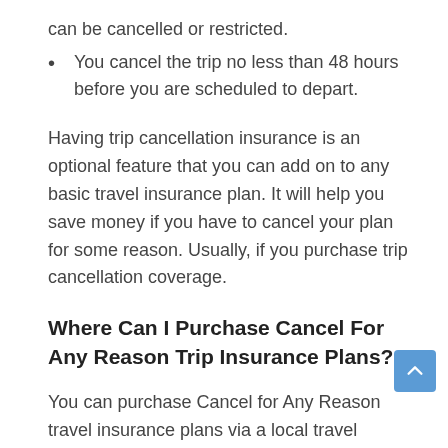can be cancelled or restricted.
You cancel the trip no less than 48 hours before you are scheduled to depart.
Having trip cancellation insurance is an optional feature that you can add on to any basic travel insurance plan. It will help you save money if you have to cancel your plan for some reason. Usually, if you purchase trip cancellation coverage.
Where Can I Purchase Cancel For Any Reason Trip Insurance Plans?
You can purchase Cancel for Any Reason travel insurance plans via a local travel insurance company such as:
AXA Assistance USA.